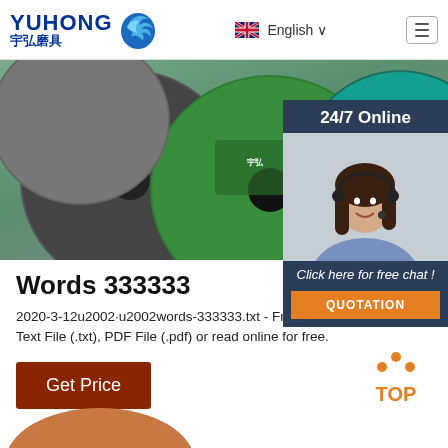YUHONG 宇弘磨具 | English | Menu
[Figure (photo): Grinding/cutting discs with green and teal labels, product photo]
[Figure (photo): 24/7 Online chat support woman with headset, customer service sidebar with 'Click here for free chat!' and QUOTATION button]
Words 333333
2020-3-12u2002·u2002words-333333.txt - Free download as Text File (.txt), PDF File (.pdf) or read online for free.
Get Price
[Figure (logo): TOP navigation button with orange dots above text]